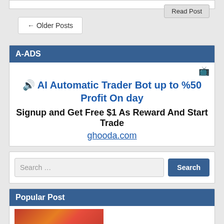Read Post
← Older Posts
A-ADS
🔊 AI Automatic Trader Bot up to %50 Profit On day
Signup and Get Free $1 As Reward And Start Trade
ghooda.com
Search …
Popular Post